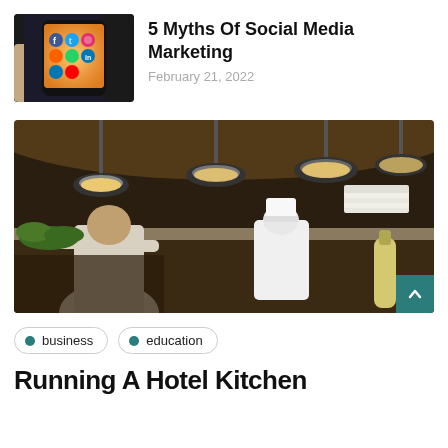[Figure (photo): Hand holding a smartphone displaying social media app icons on screen]
5 Myths Of Social Media Marketing
February 21, 2022
[Figure (photo): Restaurant kitchen scene with two chefs working under hanging pendant lights, stacks of plates visible]
business
education
Running A Hotel Kitchen